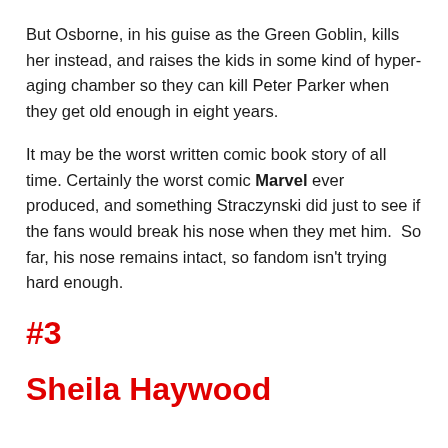But Osborne, in his guise as the Green Goblin, kills her instead, and raises the kids in some kind of hyper-aging chamber so they can kill Peter Parker when they get old enough in eight years.
It may be the worst written comic book story of all time. Certainly the worst comic Marvel ever produced, and something Straczynski did just to see if the fans would break his nose when they met him.  So far, his nose remains intact, so fandom isn't trying hard enough.
#3
Sheila Haywood